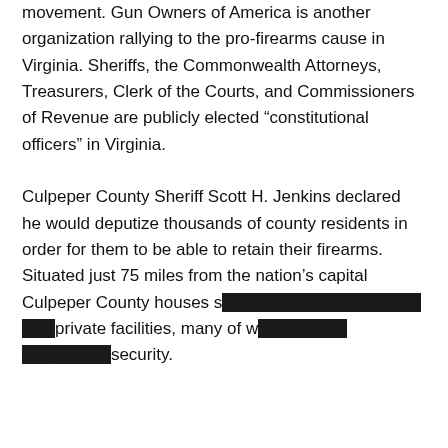movement. Gun Owners of America is another organization rallying to the pro-firearms cause in Virginia. Sheriffs, the Commonwealth Attorneys, Treasurers, Clerk of the Courts, and Commissioners of Revenue are publicly elected “constitutional officers” in Virginia.

Culpeper County Sheriff Scott H. Jenkins declared he would deputize thousands of county residents in order for them to be able to retain their firearms. Situated just 75 miles from the nation’s capital Culpeper County houses s[...] private facilities, many of w[...] security.
[Figure (screenshot): Video player overlay showing an error message 'Uh oh, something went wrong' with playback controls, title 'FAST DRILL: CAP', mute icon, progress bar at 0:00, and fullscreen button. A close (x) button is in the top-right corner.]